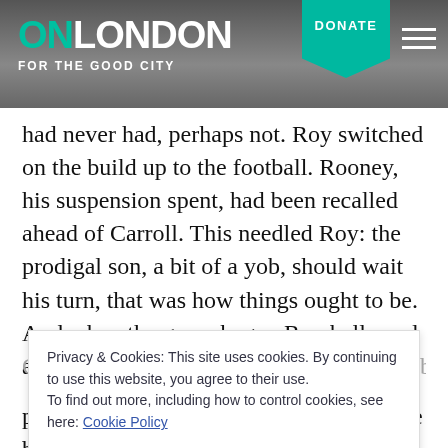ON LONDON — FOR THE GOOD CITY | DONATE
had never had, perhaps not. Roy switched on the build up to the football. Rooney, his suspension spent, had been recalled ahead of Carroll. This needled Roy: the prodigal son, a bit of a yob, should wait his turn, that was how things ought to be. And when the game began Roy bellowed at the widescreen Panasonic with both outrage and glee when a perfect cross skidded off Rooney's head and trickled wide.
Privacy & Cookies: This site uses cookies. By continuing to use this website, you agree to their use. To find out more, including how to control cookies, see here: Cookie Policy
phone-in to say that Ukraine had been the better